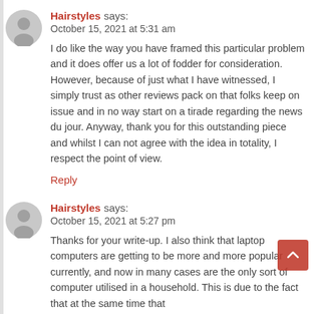Hairstyles says: October 15, 2021 at 5:31 am
I do like the way you have framed this particular problem and it does offer us a lot of fodder for consideration. However, because of just what I have witnessed, I simply trust as other reviews pack on that folks keep on issue and in no way start on a tirade regarding the news du jour. Anyway, thank you for this outstanding piece and whilst I can not agree with the idea in totality, I respect the point of view.
Reply
Hairstyles says: October 15, 2021 at 5:27 pm
Thanks for your write-up. I also think that laptop computers are getting to be more and more popular currently, and now in many cases are the only sort of computer utilised in a household. This is due to the fact that at the same time that